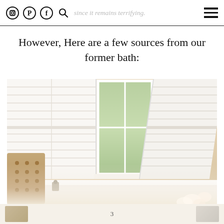since it remains terrifying.
However, Here are a few sources from our former bath:
[Figure (photo): Bathroom interior with white plantation shutters open on either side of a center window showing green trees outside, a tufted upholstered headboard/tub surround at lower left, bathtub with chrome faucet, and decorative flowers at bottom right.]
3